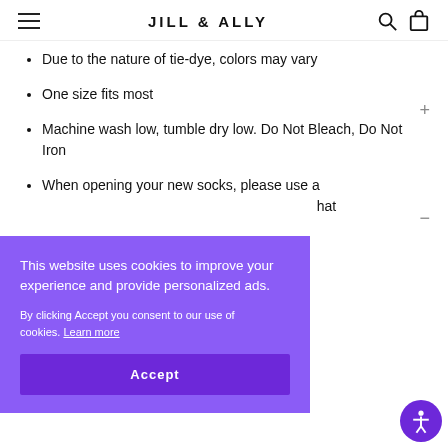JILL & ALLY
Due to the nature of tie-dye, colors may vary
One size fits most
Machine wash low, tumble dry low. Do Not Bleach, Do Not Iron
When opening your new socks, please use a …hat
This website uses cookies to improve your experience and provide personalized ads. By clicking Accept you consent to our use of cookies. Learn more
Accept